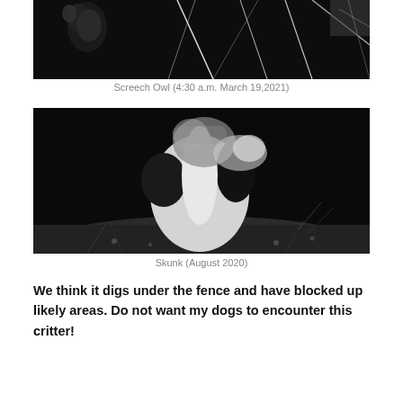[Figure (photo): Night vision / trail camera image of a Screech Owl on a branch, black and white, top portion cropped]
Screech Owl (4:30 a.m. March 19,2021)
[Figure (photo): Night vision / trail camera image of a skunk on the ground among vegetation, black and white]
Skunk (August 2020)
We think it digs under the fence and have blocked up likely areas. Do not want my dogs to encounter this critter!